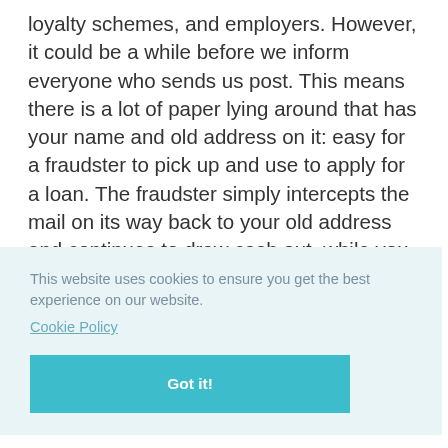loyalty schemes, and employers. However, it could be a while before we inform everyone who sends us post. This means there is a lot of paper lying around that has your name and old address on it: easy for a fraudster to pick up and use to apply for a loan. The fraudster simply intercepts the mail on its way back to your old address and continues to draw cash out, while you remain unaware of the trail left behind you.
This website uses cookies to ensure you get the best experience on our website.
Cookie Policy
Got it!